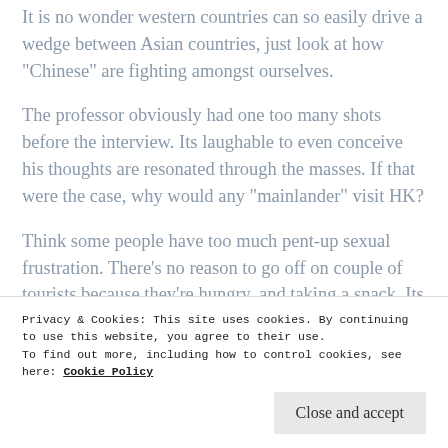It is no wonder western countries can so easily drive a wedge between Asian countries, just look at how “Chinese” are fighting amongst ourselves.
The professor obviously had one too many shots before the interview. Its laughable to even conceive his thoughts are resonated through the masses. If that were the case, why would any “mainlander” visit HK?
Think some people have too much pent-up sexual frustration. There’s no reason to go off on couple of tourists because they’re hungry, and taking a snack. Its not like they were chowing down a bowl of noodles. Not
Privacy & Cookies: This site uses cookies. By continuing to use this website, you agree to their use.
To find out more, including how to control cookies, see here: Cookie Policy
PS: I’m a BIG fan of HK cuisine. Gonna have me a big